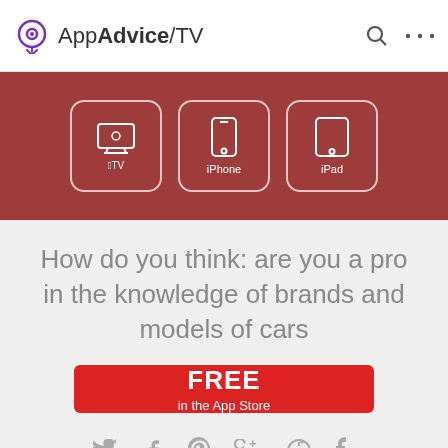AppAdvice/TV
[Figure (infographic): Red navigation band with three rounded square buttons: Apple TV, iPhone, iPad — white icons and text on dark red background]
How do you think: are you a pro in the knowledge of brands and models of cars
[Figure (other): Red FREE button with 'in the App Store' subtitle]
[Figure (other): Social media icons row: Twitter, Facebook, Pinterest, Google+, Reddit, Tumblr]